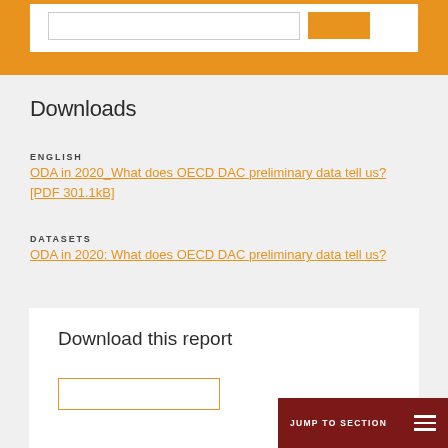Downloads
ENGLISH
ODA in 2020_What does OECD DAC preliminary data tell us? [PDF 301.1kB]
DATASETS
ODA in 2020: What does OECD DAC preliminary data tell us?
Download this report